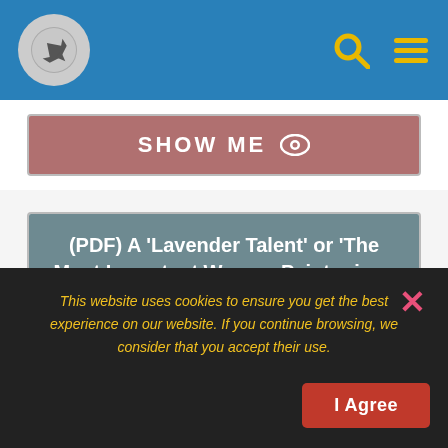[Figure (screenshot): Blue navigation bar with airplane logo icon on the left, and search and menu icons on the right in yellow/gold]
[Figure (screenshot): Mauve/rose colored SHOW ME button with eye icon]
(PDF) A 'Lavender Talent' or 'The Most Important Woman Painter in ...
PDF | Vanessa Bell presents a problem for the history of art in Britain. As a member of the Bloomsbury group she is famous, yet her art itself is... | Find, read and ...
https://www.researchgate.net/publication/259687455_A_%2
This website uses cookies to ensure you get the best experience on our website. If you continue browsing, we consider that you accept their use.
I Agree